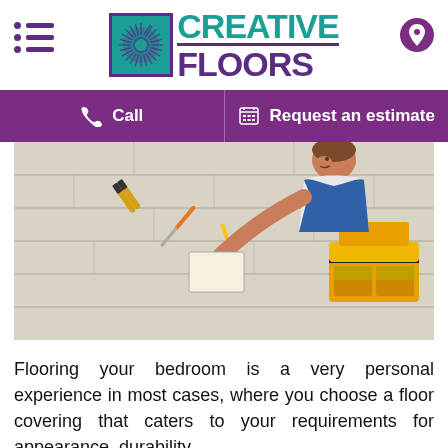[Figure (logo): Creative Floors logo with teal square icon and purple/teal text]
Call
Request an estimate
[Figure (photo): Flooring worker laying laminate floor planks with tools including pliers and a yellow toolbox]
Flooring your bedroom is a very personal experience in most cases, where you choose a floor covering that caters to your requirements for appearance, durability,